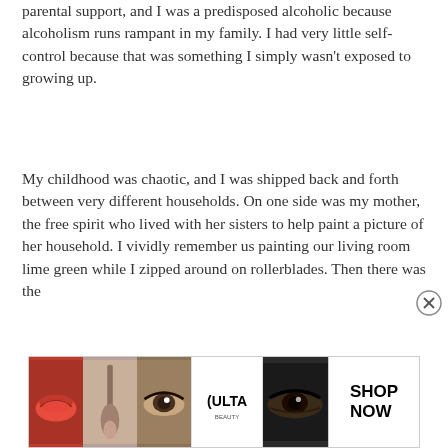parental support, and I was a predisposed alcoholic because alcoholism runs rampant in my family. I had very little self-control because that was something I simply wasn't exposed to growing up.
My childhood was chaotic, and I was shipped back and forth between very different households. On one side was my mother, the free spirit who lived with her sisters to help paint a picture of her household. I vividly remember us painting our living room lime green while I zipped around on rollerblades. Then there was the
[Figure (other): ULTA Beauty advertisement banner with makeup images (lips, brush, eye) and SHOP NOW button]